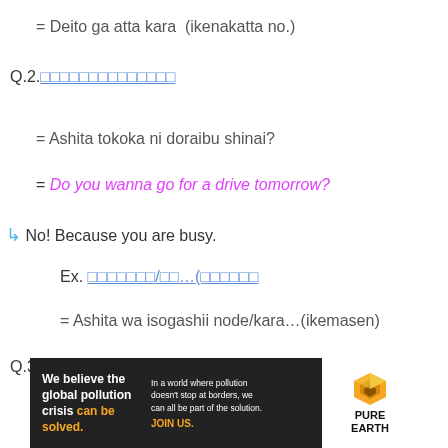= Deito ga atta kara  (ikenakatta no.)
Q.2. [Japanese characters]
= Ashita tokoka ni doraibu shinai?
= Do you wanna go for a drive tomorrow?
↳ No! Because you are busy.
Ex. [Japanese characters]/[Japanese characters]…([Japanese characters]
= Ashita wa isogashii node/kara…(ikemasen)
Q.3 [Japanese characters](  )[Japanese characters]
[Figure (infographic): Pure Earth advertisement banner: 'We believe the global pollution crisis can be solved.' with tagline about world where pollution doesn't stop at borders and JOIN US call to action, with Pure Earth logo.]